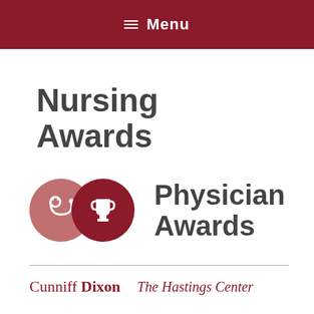☰ Menu
Nursing Awards
[Figure (logo): Two overlapping circles: a mauve/rose circle with a stethoscope icon and a dark red circle with a trophy icon, followed by 'Physician Awards' bold text]
[Figure (logo): Cunniff Dixon and The Hastings Center sponsor logos]
End of Life Care